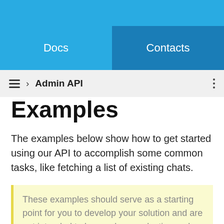Docs | Contacts
≡ › Admin API
Examples
The examples below show how to get started using our API to accomplish some common tasks, like fetching a list of existing chats.
These examples should serve as a starting point for you to develop your solution and are not intended to be used as production code.
Fetch Chats